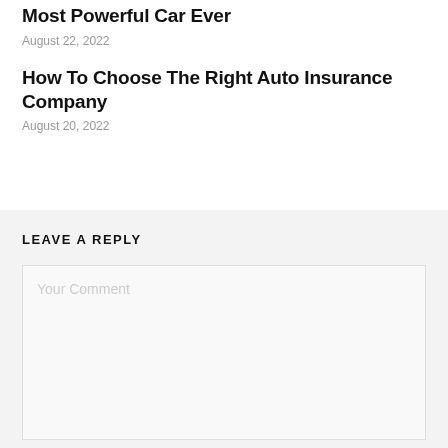Most Powerful Car Ever
August 22, 2022
How To Choose The Right Auto Insurance Company
August 20, 2022
LEAVE A REPLY
Your Comment